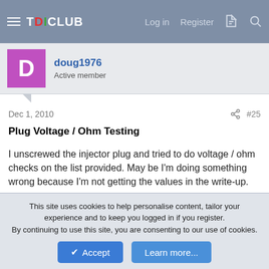TDICLUB — Log in  Register
doug1976
Active member
Dec 1, 2010   #25
Plug Voltage / Ohm Testing
I unscrewed the injector plug and tried to do voltage / ohm checks on the list provided. May be I'm doing something wrong because I'm not getting the values in the write-up.
Key off. pins 2-7 resistance to Ground - no reading OK that matches
Key off. pins 2-7 voltage all 0 Vdc - OK that matches
Key on (engine not running) Pin 7 = 2.4 Vdc all other pins
This site uses cookies to help personalise content, tailor your experience and to keep you logged in if you register.
By continuing to use this site, you are consenting to our use of cookies.